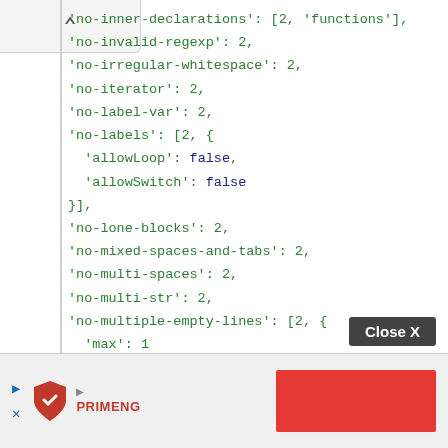[Figure (screenshot): Top navigation bar with up arrow/collapse button on a light gray background]
'no-inner-declarations': [2, 'functions'],
'no-invalid-regexp': 2,
'no-irregular-whitespace': 2,
'no-iterator': 2,
'no-label-var': 2,
'no-labels': [2, {
  'allowLoop': false,
  'allowSwitch': false
}],
'no-lone-blocks': 2,
'no-mixed-spaces-and-tabs': 2,
'no-multi-spaces': 2,
'no-multi-str': 2,
'no-multiple-empty-lines': [2, {
  'max': 1
}],
'no-native-reassign': 2,
[Figure (advertisement): PrimeNG advertisement banner at the bottom with logo and red box]